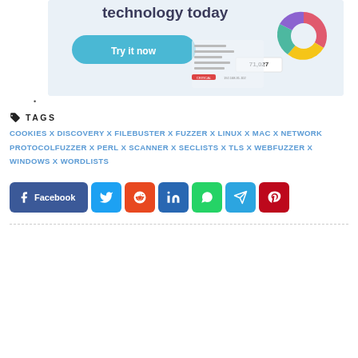[Figure (screenshot): Screenshot of a security/network scanning dashboard interface showing 'technology today' heading, a 'Try it now' button, a pie chart, a number 71,027, and a vulnerabilities panel]
COOKIES X DISCOVERY X FILEBUSTER X FUZZER X LINUX X MAC X NETWORK PROTOCOLFUZZER X PERL X SCANNER X SECLISTS X TLS X WEBFUZZER X WINDOWS X WORDLISTS
[Figure (infographic): Row of social share buttons: Facebook, Twitter, Reddit, LinkedIn, WhatsApp, Telegram, Pinterest]